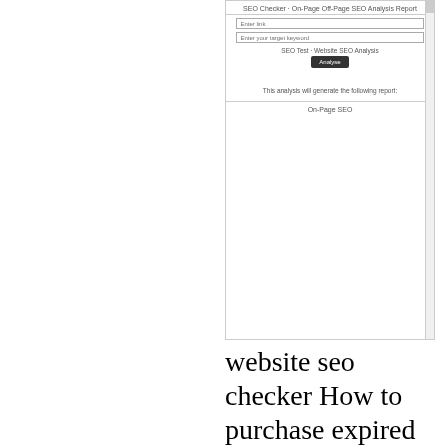[Figure (screenshot): Screenshot of an SEO Checker tool showing 'SEO Checker - On-Page Off-Page SEO Analysis Report' title, two input fields (Enter URL and Enter your target keyword), 'SEO Test - Website SEO Analysis' label, an 'Analyse' button, a note 'This analysis will generate the following report:', and 'On-Page SEO' text with a scrollbar on the right.]
website seo checker
How to purchase expired domains. SEO Quirks You Must Know. Google Analytics Keyword Not Provided. Has Google stopped updating pagerank. How does alexa ranking works. How search Engine works. How To Do Keyword Research. How to measure SEO performance. How to write unique and useful article. Is SEO Science or Art. Market Research and Analysis. React JS SEO Guide. SEO and Google analytics. SEO Trends in 2017. Top 10 SEO Mistakes. What is an SEO Specialist. What is Moz